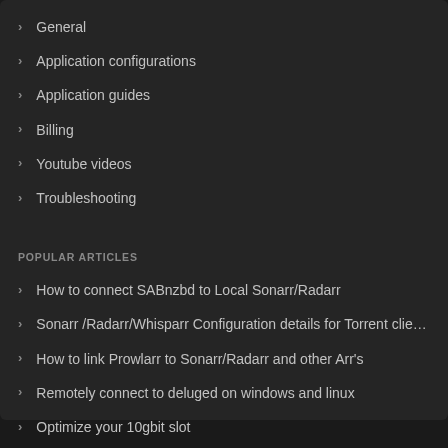General
Application configurations
Application guides
Billing
Youtube videos
Troubleshooting
POPULAR ARTICLES
How to connect SABnzbd to Local Sonarr/Radarr
Sonarr /Radarr/Whisparr Configuration details for Torrent clie…
How to link Prowlarr to Sonarr/Radarr and other Arr's
Remotely connect to deluged on windows and linux
Optimize your 10gbit slot
How to solve slow FTP/Network issues